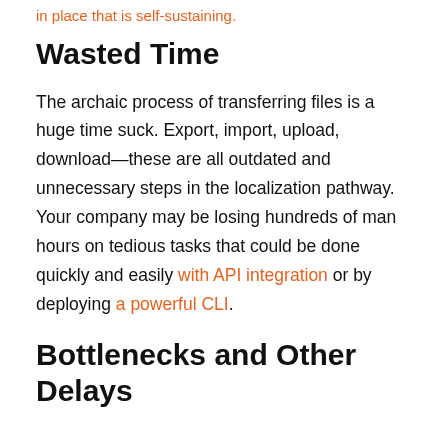in place that is self-sustaining.
Wasted Time
The archaic process of transferring files is a huge time suck. Export, import, upload, download—these are all outdated and unnecessary steps in the localization pathway. Your company may be losing hundreds of man hours on tedious tasks that could be done quickly and easily with API integration or by deploying a powerful CLI.
Bottlenecks and Other Delays